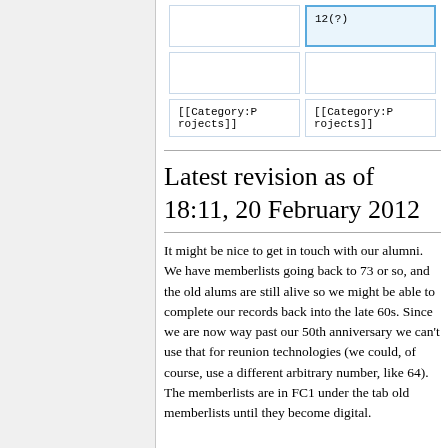|  | 12(?) |
|  |  |
| [[Category:Projects]] | [[Category:Projects]] |
Latest revision as of 18:11, 20 February 2012
It might be nice to get in touch with our alumni. We have memberlists going back to 73 or so, and the old alums are still alive so we might be able to complete our records back into the late 60s. Since we are now way past our 50th anniversary we can't use that for reunion technologies (we could, of course, use a different arbitrary number, like 64). The memberlists are in FC1 under the tab old memberlists until they become digital.